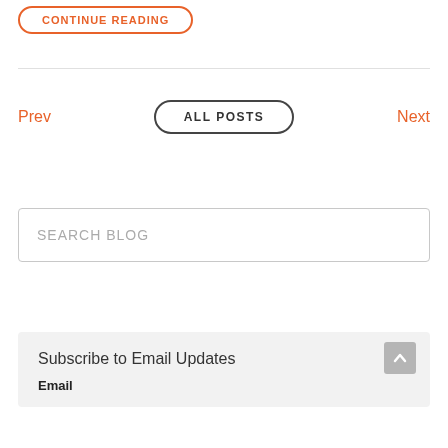CONTINUE READING
Prev
ALL POSTS
Next
SEARCH BLOG
Subscribe to Email Updates
Email